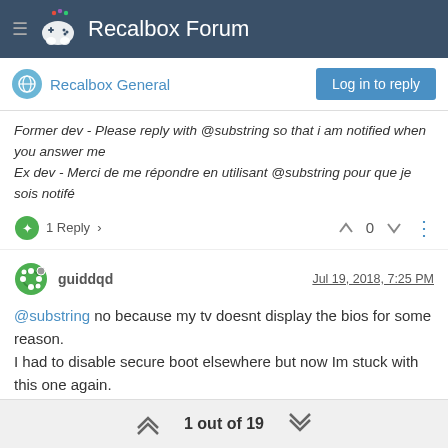Recalbox Forum
Recalbox General
Former dev - Please reply with @substring so that i am notified when you answer me
Ex dev - Merci de me répondre en utilisant @substring pour que je sois notifé
1 Reply > 0
guiddqd  Jul 19, 2018, 7:25 PM
@substring no because my tv doesnt display the bios for some reason.
I had to disable secure boot elsewhere but now Im stuck with this one again.
2 Replies > 0
1 out of 19